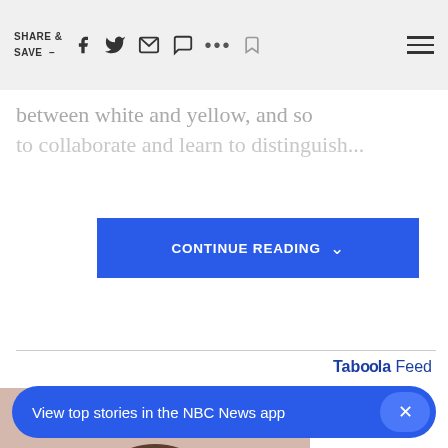SHARE & SAVE
between white and yellow, and so to collaborate...
CONTINUE READING
Taboola Feed
[Figure (photo): Woman holding a black card, smiling, with dark hair, against a pinkish-beige background.]
SPONSORED
Here
Hands Down The Top Credit...
View top stories in the NBC News app